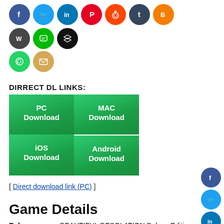[Figure (other): Row of social media sharing icon circles: Facebook (blue), Twitter (blue), LinkedIn (blue), Pinterest (red), Reddit (orange-red), Tumblr (dark blue), Blogger (orange), WordPress (dark gray), LINE (green), Layers/Buffer (black), plus WhatsApp (teal) and Email (tan) on second row]
DIRRECT DL LINKS:
PC Download
MAC Download
iOS Download
Android Download
[ Direct download link (PC) ]
Game Details
Release name: BEAUTIFUL DESOLATION Deluxe Edition v10.6.7b